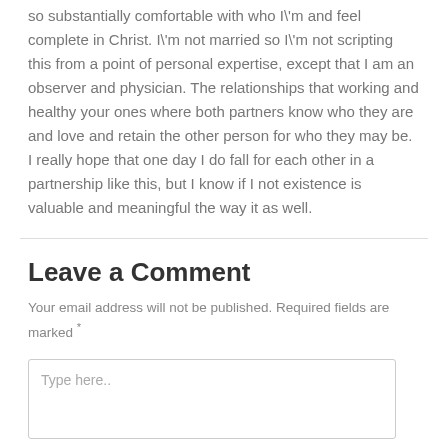so substantially comfortable with who I\'m and feel complete in Christ. I\'m not married so I\'m not scripting this from a point of personal expertise, except that I am an observer and physician. The relationships that working and healthy your ones where both partners know who they are and love and retain the other person for who they may be. I really hope that one day I do fall for each other in a partnership like this, but I know if I not existence is valuable and meaningful the way it as well.
Leave a Comment
Your email address will not be published. Required fields are marked *
Type here..